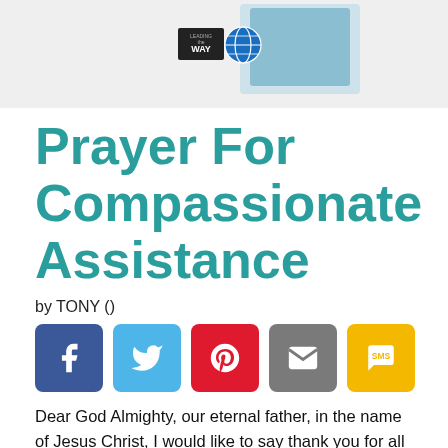[Figure (photo): Product box image with Leading the Way logo badge and globe icon on a light grey background]
Prayer For Compassionate Assistance
by TONY ()
[Figure (infographic): Social sharing buttons: Facebook (blue), Twitter (light blue), Pinterest (red), Email (grey), SMS (yellow)]
Dear God Almighty, our eternal father, in the name of Jesus Christ, I would like to say thank you for all the blessings that bestowed upon us. thank you so much for not leaving me, nor forsaken me especially